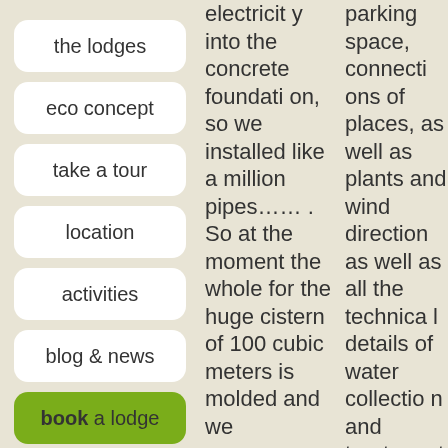the lodges
eco concept
take a tour
location
activities
blog & news
book a lodge
electricity into the concrete foundation, so we installed like a million pipes…… . So at the moment the whole for the huge cistern of 100 cubic meters is molded and we
parking space, connections of places, as well as plants and wind directions as well as all the technical details of water collection and treatment. Then the orientation and